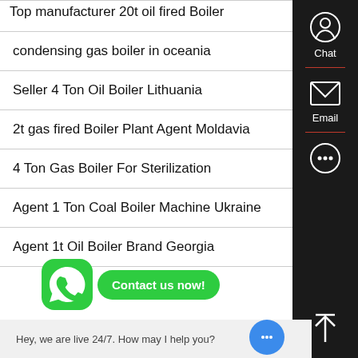Top manufacturer 20t oil fired Boiler
condensing gas boiler in oceania
Seller 4 Ton Oil Boiler Lithuania
2t gas fired Boiler Plant Agent Moldavia
4 Ton Gas Boiler For Sterilization
Agent 1 Ton Coal Boiler Machine Ukraine
Agent 1t Oil Boiler Brand Georgia
[Figure (screenshot): WhatsApp contact button with green icon and 'Contact us now!' button]
Hey, we are live 24/7. How may I help you?
[Figure (infographic): Dark sidebar with Chat, Email, and scroll-to-top icons]